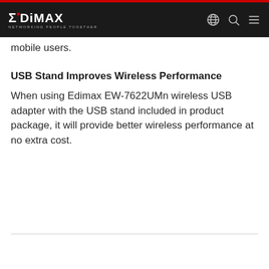EDIMAX — NETWORKING PEOPLE TOGETHER
mobile users.
USB Stand Improves Wireless Performance
When using Edimax EW-7622UMn wireless USB adapter with the USB stand included in product package, it will provide better wireless performance at no extra cost.